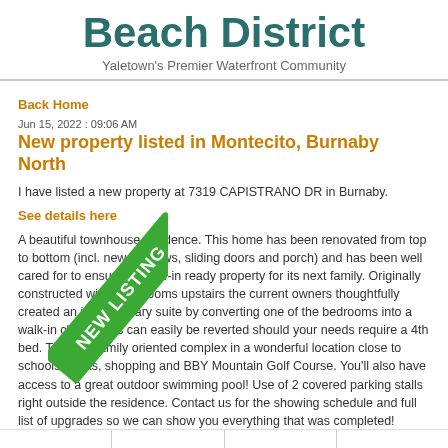Beach District
Yaletown's Premier Waterfront Community
Back Home
Jun 15, 2022 : 09:06 AM
New property listed in Montecito, Burnaby North
I have listed a new property at 7319 CAPISTRANO DR in Burnaby.
See details here
A beautiful townhouse residence. This home has been renovated from top to bottom (incl. new windows, sliding doors and porch) and has been well cared for to ensure a move-in ready property for its next family. Originally constructed with 4 bedrooms upstairs the current owners thoughtfully created an ideal primary suite by converting one of the bedrooms into a walk-in closet. This can easily be reverted should your needs require a 4th bed. This is a family oriented complex in a wonderful location close to schools, parks, shopping and BBY Mountain Golf Course. You'll also have access to a great outdoor swimming pool! Use of 2 covered parking stalls right outside the residence. Contact us for the showing schedule and full list of upgrades so we can show you everything that was completed!